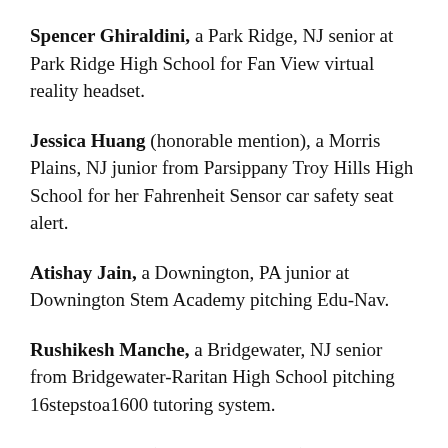Spencer Ghiraldini, a Park Ridge, NJ senior at Park Ridge High School for Fan View virtual reality headset.
Jessica Huang (honorable mention), a Morris Plains, NJ junior from Parsippany Troy Hills High School for her Fahrenheit Sensor car safety seat alert.
Atishay Jain, a Downington, PA junior at Downington Stem Academy pitching Edu-Nav.
Rushikesh Manche, a Bridgewater, NJ senior from Bridgewater-Raritan High School pitching 16stepstoa1600 tutoring system.
Mia Masturzo (honorable mention), a Mills Valley, CA sophomore from Marin Catholic High School pitching Mia_paintss on Instagram.